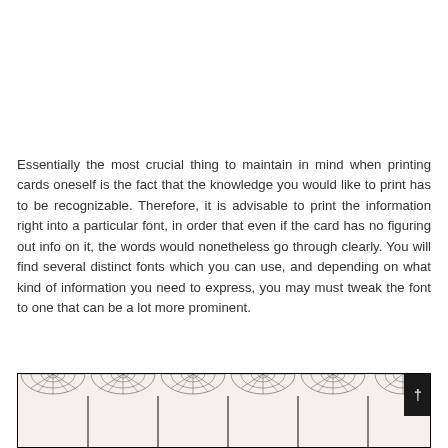Essentially the most crucial thing to maintain in mind when printing cards oneself is the fact that the knowledge you would like to print has to be recognizable. Therefore, it is advisable to print the information right into a particular font, in order that even if the card has no figuring out info on it, the words would nonetheless go through clearly. You will find several distinct fonts which you can use, and depending on what kind of information you need to express, you may must tweak the font to one that can be a lot more prominent.
[Figure (illustration): A decorative illustration showing a row of spider webs at the top of a dark-bordered box, with vertical dividers below creating sections. A scroll/navigation button is visible on the right side.]